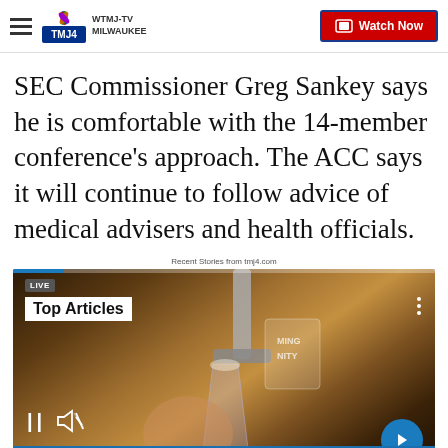WTMJ-TV MILWAUKEE | Watch Now
SEC Commissioner Greg Sankey says he is comfortable with the 14-member conference's approach. The ACC says it will continue to follow advice of medical advisers and health officials.
Recent Stories from tmj4.com
[Figure (screenshot): Video player showing a beer being poured from a tap. Overlay shows LIVE badge, Top Articles label, three-dot menu, video progress bar, pause button, mute button, and blue arrow/next button. Bottom of frame shows partial blue ticker bar.]